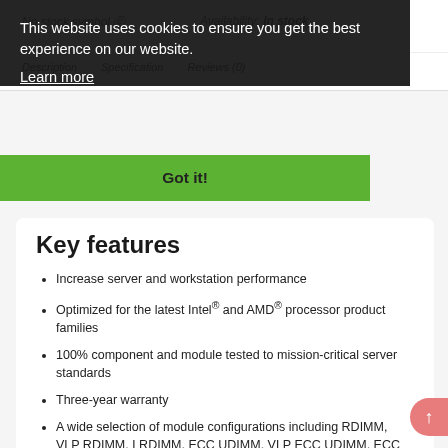This website uses cookies to ensure you get the best experience on our website. Learn more
Got it!
Key features
Increase server and workstation performance
Optimized for the latest Intel® and AMD® processor product families
100% component and module tested to mission-critical server standards
Three-year warranty
A wide selection of module configurations including RDIMM, VLP RDIMM, LRDIMM, ECC UDIMM, VLP ECC UDIMM, ECC SODIMM, and NVDIMM